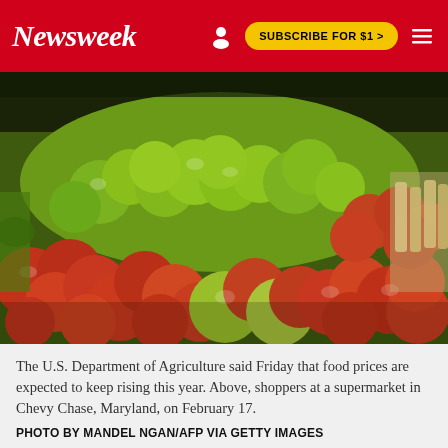Newsweek | SUBSCRIBE FOR $1 >
[Figure (photo): Display of green and red apples at a supermarket produce section, piled high on a market stand with other produce visible in the background.]
The U.S. Department of Agriculture said Friday that food prices are expected to keep rising this year. Above, shoppers at a supermarket in Chevy Chase, Maryland, on February 17.
PHOTO BY MANDEL NGAN/AFP VIA GETTY IMAGES